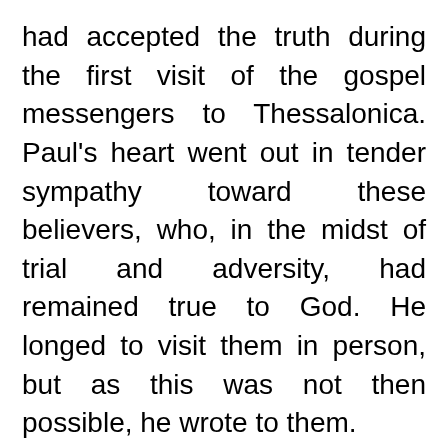had accepted the truth during the first visit of the gospel messengers to Thessalonica. Paul's heart went out in tender sympathy toward these believers, who, in the midst of trial and adversity, had remained true to God. He longed to visit them in person, but as this was not then possible, he wrote to them.